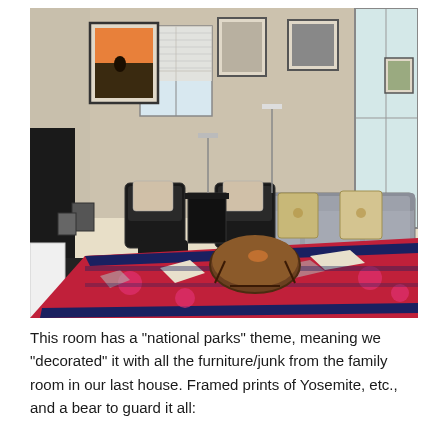[Figure (photo): Interior living room photo showing a furnished room with a bold red, navy, and white Southwestern/Aztec patterned area rug, a grey sofa with decorative pillows, two black leather recliners, a round wooden coffee table, framed artwork on the walls (including what appears to be national parks prints), windows with blinds, and French doors on the right side. A white table is partially visible on the lower left.]
This room has a "national parks" theme, meaning we "decorated" it with all the furniture/junk from the family room in our last house. Framed prints of Yosemite, etc., and a bear to guard it all: